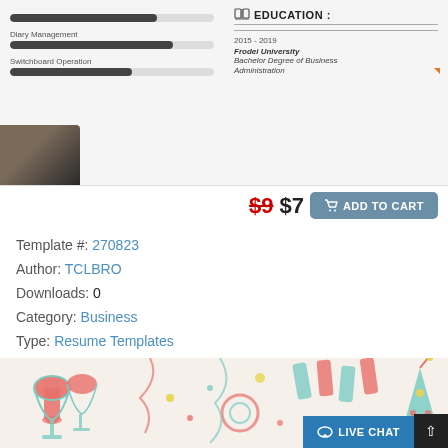[Figure (screenshot): Partial resume template preview showing skill bars for Diary Management and Switchboard Operation on the left, and Education section (2015-2019, Frodei University, Bachelor Degree of Business Administration) on the right]
$9 $7  ADD TO CART
Template #: 270823
Author: TCLBRO
Downloads: 0
Category: Business
Type: Resume Templates
View: Live Demo or More Info
Alternate Live Demo: Click Here
[Figure (illustration): Festive party-themed banner with wine glasses, party decorations, confetti and party hats in teal, coral/red and yellow colors]
LIVE CHAT